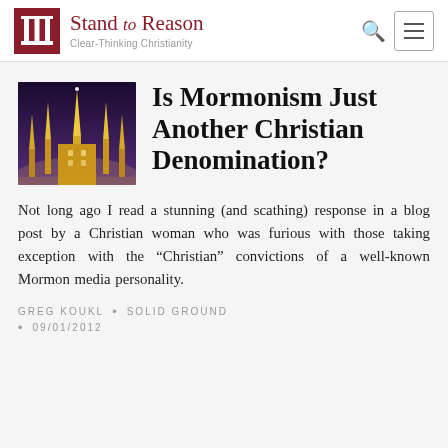Stand to Reason · Clear-Thinking Christianity
[Figure (photo): Illuminated LDS temple at night with purple sky]
Is Mormonism Just Another Christian Denomination?
Not long ago I read a stunning (and scathing) response in a blog post by a Christian woman who was furious with those taking exception with the “Christian” convictions of a well-known Mormon media personality.
GREG KOUKL • SOLID GROUND • 09/01/2012